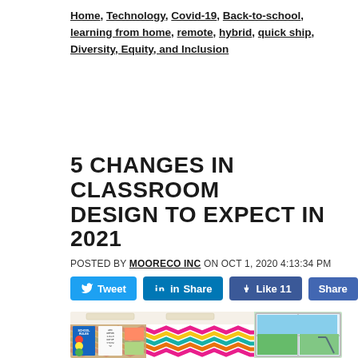Home, Technology, Covid-19, Back-to-school, learning from home, remote, hybrid, quick ship, Diversity, Equity, and Inclusion
5 CHANGES IN CLASSROOM DESIGN TO EXPECT IN 2021
POSTED BY MOORECO INC ON OCT 1, 2020 4:13:34 PM
[Figure (infographic): Social media sharing buttons: Tweet (Twitter), Share (LinkedIn), Like 11 (Facebook), Share (Facebook)]
[Figure (photo): Classroom interior with colorful chevron zigzag patterned wall, cork bulletin board with school rules and alphabet chart, windows with view of outdoor playground]